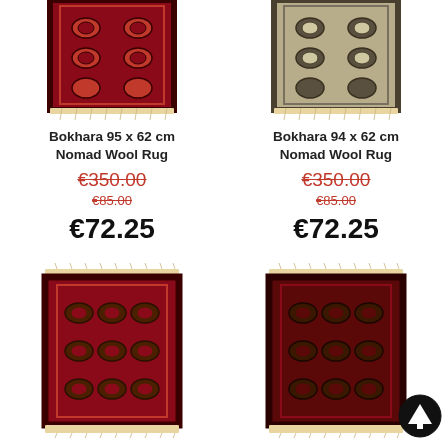[Figure (photo): Red Bokhara 95x62 cm Nomad Wool Rug, top portion visible]
[Figure (photo): Beige/grey Bokhara 94x62 cm Nomad Wool Rug, top portion visible]
Bokhara 95 x 62 cm Nomad Wool Rug
Bokhara 94 x 62 cm Nomad Wool Rug
€350.00 (strikethrough, large red)
€350.00 (strikethrough, large red)
€85.00 (strikethrough, small red)
€85.00 (strikethrough, small red)
€72.25
€72.25
[Figure (photo): Red Bokhara rug, full view, bottom left]
[Figure (photo): Red/dark Bokhara rug, full view, bottom right]